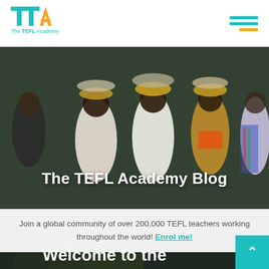[Figure (logo): The TEFL Academy logo — TTA letters in teal and orange with 'The TEFL Academy' text below]
[Figure (photo): Hero photograph of women in traditional Balinese cultural dress carrying baskets on their heads, walking in a procession]
The TEFL Academy Blog
Join a global community of over 200,000 TEFL teachers working throughout the world! Enrol me!
[Figure (photo): Dark background photo with a green leaf, beginning of a new blog section]
Welcome to the TEFL Learning